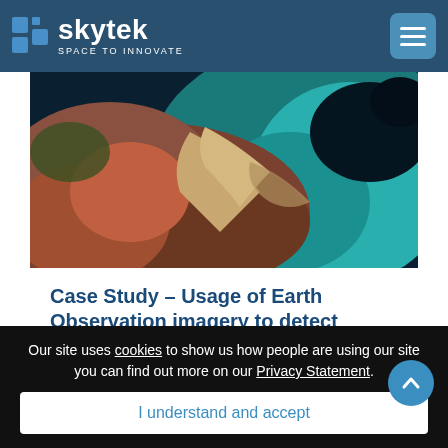skytek SPACE TO INNOVATE
[Figure (photo): Aerial/satellite view of a coastal river delta region showing sediment, water, and land from space. Colors include teal, brown, red-orange, and dark blue of ocean/water.]
Case Study – Usage of Earth Observation imagery to detect illegal dumping
The Sentinel series of satellites are part of the European's Commissions Copernicus ...
Our site uses cookies to show us how people are using our site you can find out more on our Privacy Statement.
I understand and accept